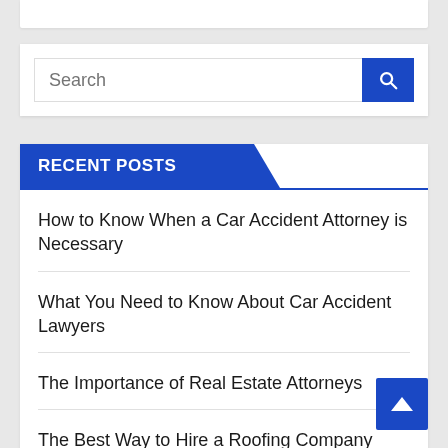[Figure (screenshot): Search bar with blue search button on white card background]
RECENT POSTS
How to Know When a Car Accident Attorney is Necessary
What You Need to Know About Car Accident Lawyers
The Importance of Real Estate Attorneys
The Best Way to Hire a Roofing Company